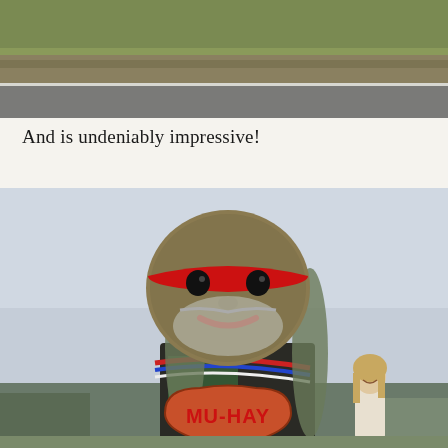[Figure (photo): Aerial or roadside view of a road with white line marking, grassy embankment visible, grey overcast sky in background]
And is undeniably impressive!
[Figure (photo): Large hay bale sculpture of a person with a round head, red headband, grey beard and hair, wearing green and dark clothing, holding a heart-shaped sign reading 'MU-HAY', with a woman standing to the right, under a grey sky]